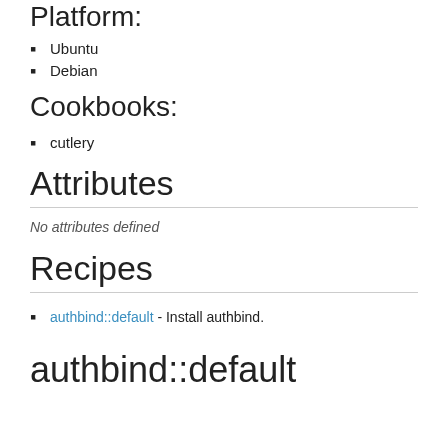Platform:
Ubuntu
Debian
Cookbooks:
cutlery
Attributes
No attributes defined
Recipes
authbind::default - Install authbind.
authbind::default